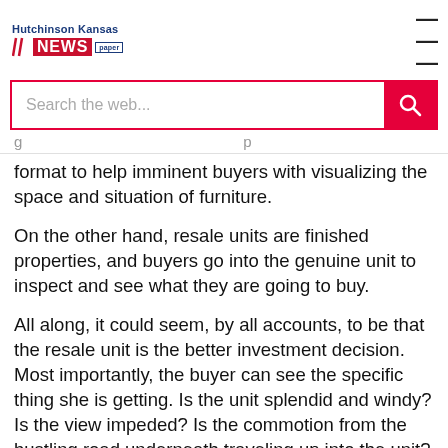Hutchinson Kansas NEWS paper
Search the web...
format to help imminent buyers with visualizing the space and situation of furniture.
On the other hand, resale units are finished properties, and buyers go into the genuine unit to inspect and see what they are going to buy.
All along, it could seem, by all accounts, to be that the resale unit is the better investment decision. Most importantly, the buyer can see the specific thing she is getting. Is the unit splendid and windy? Is the view impeded? Is the commotion from the bustling road underneath traveling up into the unit? In a resale unit, the buyer can check for herself.